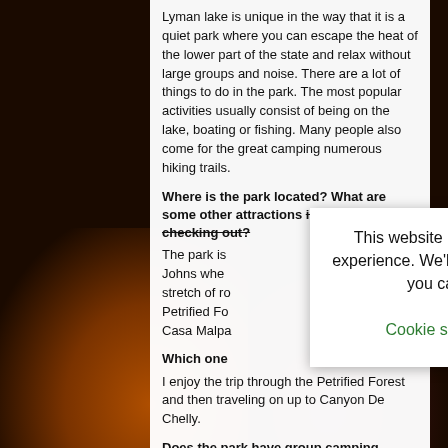Lyman lake is unique in the way that it is a quiet park where you can escape the heat of the lower part of the state and relax without large groups and noise. There are a lot of things to do in the park. The most popular activities usually consist of being on the lake, boating or fishing. Many people also come for the great camping numerous hiking trails.
Where is the park located? What are some other attractions in the area worth checking out?
The park is located along the San Johns whe... stretch of ro... Petrified Fo... Casa Malpa...
Which one...
I enjoy the trip through the Petrified Forest and then traveling on up to Canyon De Chelly.
Does the park have group camping sites?
Lyman Lake has a reservable Group Use area that has 12 campsites with electric, water and sewer. A meeting room with tables and chairs looks out over the lake. A pavilion section with tables and chairs...
This website uses cookies to improve your experience. We'll assume you're ok with this, but you can opt-out if you wish.
Cookie settings | ACCEPT